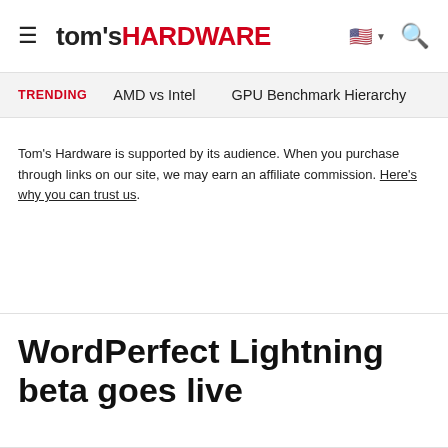tom's HARDWARE
TRENDING   AMD vs Intel   GPU Benchmark Hierarchy
Tom's Hardware is supported by its audience. When you purchase through links on our site, we may earn an affiliate commission. Here's why you can trust us.
WordPerfect Lightning beta goes live